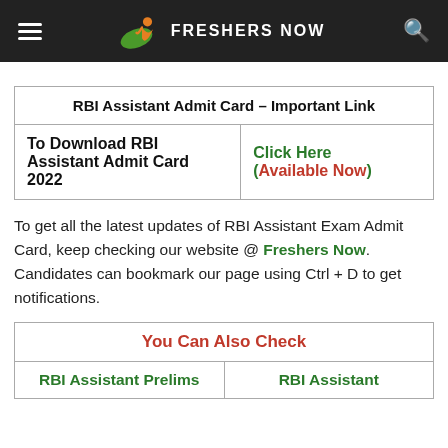FRESHERS NOW
| RBI Assistant Admit Card – Important Link |
| --- |
| To Download RBI Assistant Admit Card 2022 | Click Here (Available Now) |
To get all the latest updates of RBI Assistant Exam Admit Card, keep checking our website @ Freshers Now. Candidates can bookmark our page using Ctrl + D to get notifications.
| You Can Also Check |
| --- |
| RBI Assistant Prelims | RBI Assistant |